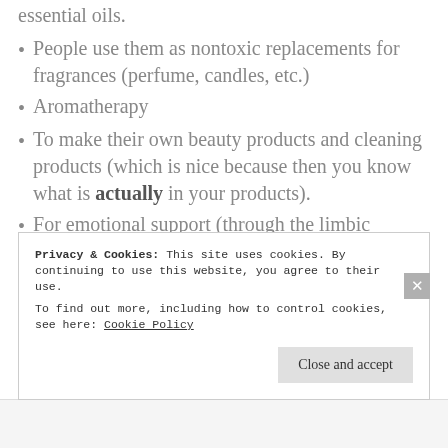essential oils.
People use them as nontoxic replacements for fragrances (perfume, candles, etc.)
Aromatherapy
To make their own beauty products and cleaning products (which is nice because then you know what is actually in your products).
For emotional support (through the limbic system).
To help different systems in your body: digestive, nervous, muscular, and more!
Privacy & Cookies: This site uses cookies. By continuing to use this website, you agree to their use. To find out more, including how to control cookies, see here: Cookie Policy